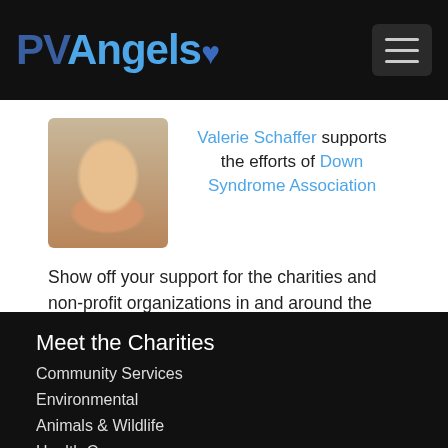PVAngels
Valerie Schaffer supports the efforts of Down Syndrome Association
Show off your support for the charities and non-profit organizations in and around the Puerto Vallarta and Riviera Nayarit area.
Become a Partner for Change
Meet the Charities
Community Services
Environmental
Animals & Wildlife
Health Care
Youth & Family